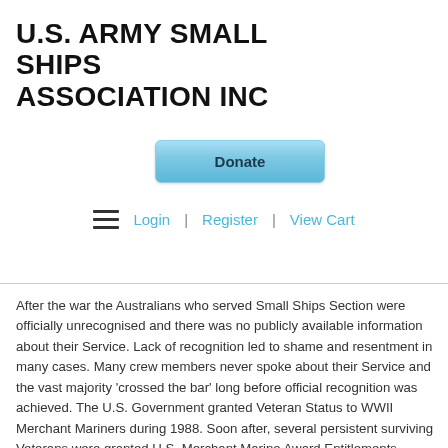U.S. ARMY SMALL SHIPS ASSOCIATION INC
[Figure (other): Blue gradient Donate button]
[Figure (other): Hamburger menu icon with Login | Register | View Cart navigation links]
After the war the Australians who served Small Ships Section were officially unrecognised and there was no publicly available information about their Service. Lack of recognition led to shame and resentment in many cases. Many crew members never spoke about their Service and the vast majority ‘crossed the bar’ long before official recognition was achieved. The U.S. Government granted Veteran Status to WWII Merchant Mariners during 1988. Soon after, several persistent surviving Veterans were granted U.S. Merchant Marine Award Entitlements.